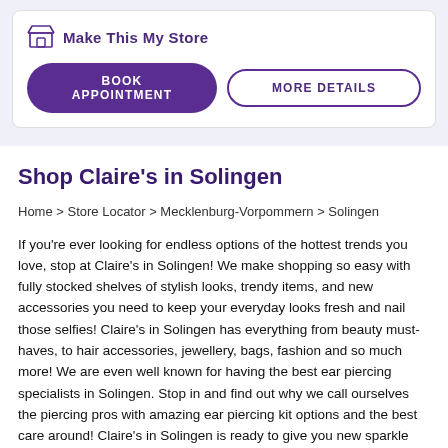Make This My Store
BOOK APPOINTMENT
MORE DETAILS
Shop Claire's in Solingen
Home > Store Locator > Mecklenburg-Vorpommern > Solingen
If you're ever looking for endless options of the hottest trends you love, stop at Claire's in Solingen! We make shopping so easy with fully stocked shelves of stylish looks, trendy items, and new accessories you need to keep your everyday looks fresh and nail those selfies! Claire's in Solingen has everything from beauty must-haves, to hair accessories, jewellery, bags, fashion and so much more! We are even well known for having the best ear piercing specialists in Solingen. Stop in and find out why we call ourselves the piercing pros with amazing ear piercing kit options and the best care around! Claire's in Solingen is ready to give you new sparkle when you're ready to